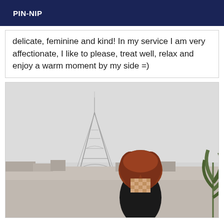PIN-NIP
delicate, feminine and kind! In my service I am very affectionate, I like to please, treat well, relax and enjoy a warm moment by my side =)
[Figure (photo): A woman with voluminous red curly hair wearing a black outfit, standing outdoors in Paris with the Eiffel Tower visible in the background and a plant to the right. Her face is pixelated/blurred.]